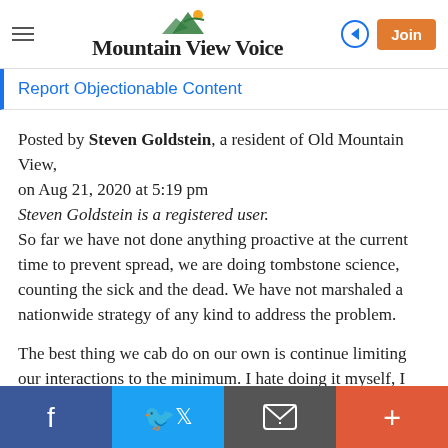Mountain View Voice
Report Objectionable Content
Posted by Steven Goldstein, a resident of Old Mountain View,
on Aug 21, 2020 at 5:19 pm
Steven Goldstein is a registered user.
So far we have not done anything proactive at the current time to prevent spread, we are doing tombstone science, counting the sick and the dead. We have not marshaled a nationwide strategy of any kind to address the problem.

The best thing we cab do on our own is continue limiting our interactions to the minimum. I hate doing it myself, I
f  twitter  email  +